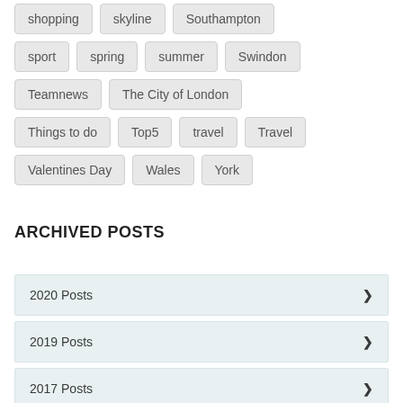shopping
skyline
Southampton
sport
spring
summer
Swindon
Teamnews
The City of London
Things to do
Top5
travel
Travel
Valentines Day
Wales
York
ARCHIVED POSTS
2020 Posts
2019 Posts
2017 Posts
2016 Posts
2015 Posts